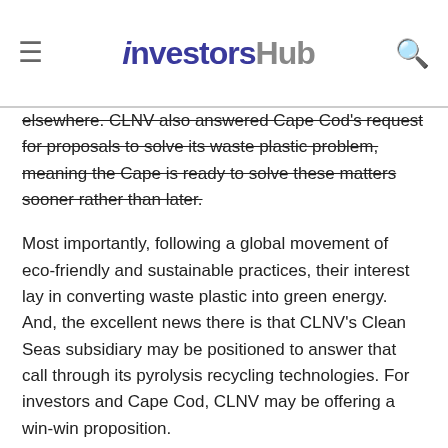investorshub
elsewhere. CLNV also answered Cape Cod's request for proposals to solve its waste plastic problem, meaning the Cape is ready to solve these matters sooner rather than later.
Most importantly, following a global movement of eco-friendly and sustainable practices, their interest lay in converting waste plastic into green energy. And, the excellent news there is that CLNV's Clean Seas subsidiary may be positioned to answer that call through its pyrolysis recycling technologies. For investors and Cape Cod, CLNV may be offering a win-win proposition.
Perhaps best of all, at roughly $0.042 per share, CLNV represents an inexpensive way for investors to get exposure to billion-dollar global waste-to-energy market opportunities. By the way, they have some financial backing behind them as well.